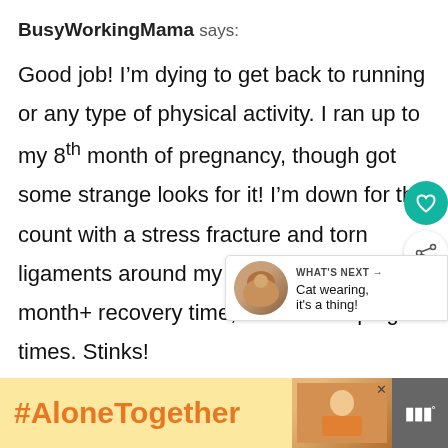BusyWorkingMama says:
Good job! I’m dying to get back to running or any type of physical activity. I ran up to my 8th month of pregnancy, though got some strange looks for it! I’m down for the count with a stress fracture and torn ligaments around my ankle and after a month+ recovery time, I am still limping at times. Stinks!
[Figure (screenshot): UI buttons: heart (teal circle) and share (white circle with share icon), plus a 'What's Next' card showing 'Cat wearing, it's a thing!']
[Figure (screenshot): Advertisement bar at bottom: '#AloneTogether' in orange on yellow background, image of woman, close button, logo icon]